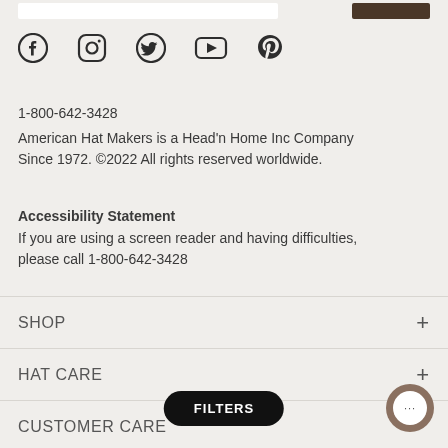[Figure (screenshot): Top bar with search input and dark brown button]
[Figure (infographic): Social media icons row: Facebook, Instagram, Twitter, YouTube, Pinterest]
1-800-642-3428
American Hat Makers is a Head'n Home Inc Company Since 1972. ©2022 All rights reserved worldwide.
Accessibility Statement
If you are using a screen reader and having difficulties, please call 1-800-642-3428
SHOP
HAT CARE
CUSTOMER CARE
FILTERS
[Figure (other): Chat button circle with ellipsis]